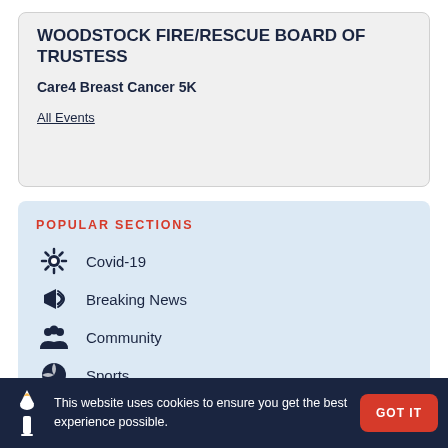WOODSTOCK FIRE/RESCUE BOARD OF TRUSTESS
Care4 Breast Cancer 5K
All Events
POPULAR SECTIONS
Covid-19
Breaking News
Community
Sports
This website uses cookies to ensure you get the best experience possible.
GOT IT